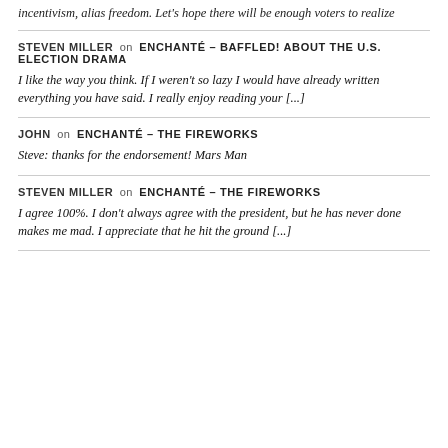incentivism, alias freedom. Let's hope there will be enough voters to realize
STEVEN MILLER on ENCHANTÉ – BAFFLED! ABOUT THE U.S. ELECTION DRAMA
I like the way you think. If I weren't so lazy I would have already written everything you have said. I really enjoy reading your [...]
JOHN on ENCHANTÉ – THE FIREWORKS
Steve: thanks for the endorsement! Mars Man
STEVEN MILLER on ENCHANTÉ – THE FIREWORKS
I agree 100%. I don't always agree with the president, but he has never done makes me mad. I appreciate that he hit the ground [...]